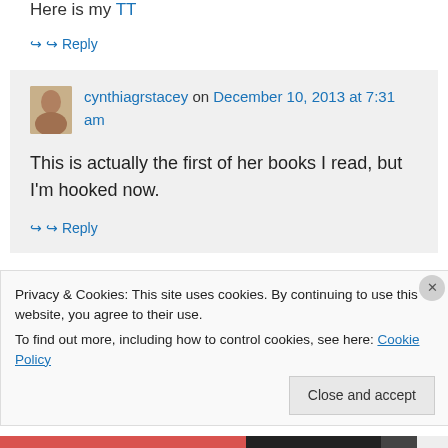Here is my TT
↪ Reply
cynthiagrstacey on December 10, 2013 at 7:31 am
This is actually the first of her books I read, but I'm hooked now.
↪ Reply
Privacy & Cookies: This site uses cookies. By continuing to use this website, you agree to their use. To find out more, including how to control cookies, see here: Cookie Policy
Close and accept